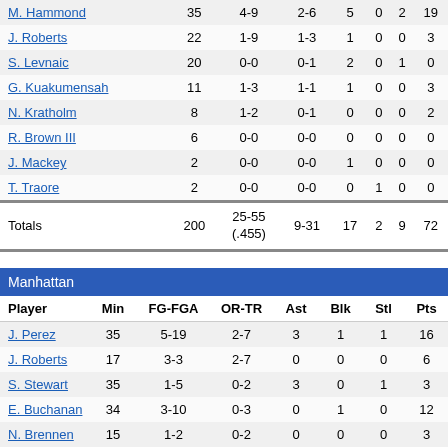| Player | Min | FG-FGA | OR-TR | Ast | Blk | Stl | Pts |
| --- | --- | --- | --- | --- | --- | --- | --- |
| M. Hammond | 35 | 4-9 | 2-6 | 5 | 0 | 2 | 19 |
| J. Roberts | 22 | 1-9 | 1-3 | 1 | 0 | 0 | 3 |
| S. Levnaic | 20 | 0-0 | 0-1 | 2 | 0 | 1 | 0 |
| G. Kuakumensah | 11 | 1-3 | 1-1 | 1 | 0 | 0 | 3 |
| N. Kratholm | 8 | 1-2 | 0-1 | 0 | 0 | 0 | 2 |
| R. Brown III | 6 | 0-0 | 0-0 | 0 | 0 | 0 | 0 |
| J. Mackey | 2 | 0-0 | 0-0 | 1 | 0 | 0 | 0 |
| T. Traore | 2 | 0-0 | 0-0 | 0 | 1 | 0 | 0 |
| Totals | 200 | 25-55 (.455) | 9-31 | 17 | 2 | 9 | 72 |
| Player | Min | FG-FGA | OR-TR | Ast | Blk | Stl | Pts |
| --- | --- | --- | --- | --- | --- | --- | --- |
| J. Perez | 35 | 5-19 | 2-7 | 3 | 1 | 1 | 16 |
| J. Roberts | 17 | 3-3 | 2-7 | 0 | 0 | 0 | 6 |
| S. Stewart | 35 | 1-5 | 0-2 | 3 | 0 | 1 | 3 |
| E. Buchanan | 34 | 3-10 | 0-3 | 0 | 1 | 0 | 12 |
| N. Brennen | 15 | 1-2 | 0-2 | 0 | 0 | 0 | 3 |